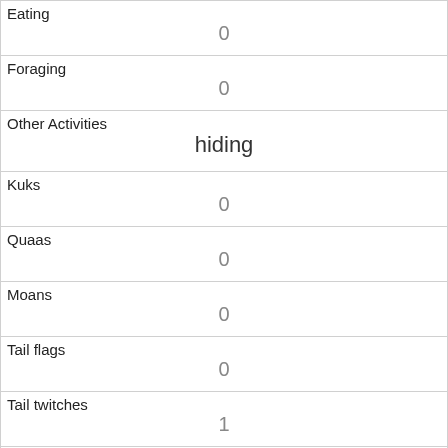| Eating | 0 |
| Foraging | 0 |
| Other Activities | hiding |
| Kuks | 0 |
| Quaas | 0 |
| Moans | 0 |
| Tail flags | 0 |
| Tail twitches | 1 |
| Approaches | 0 |
| Indifferent | 0 |